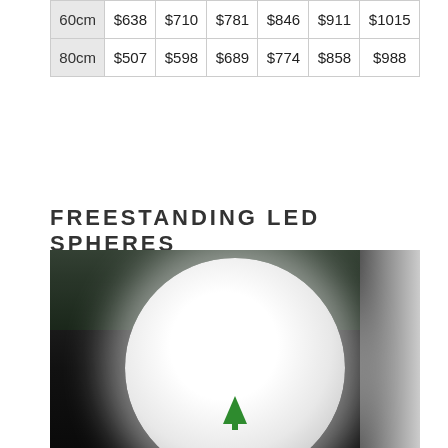| 60cm | $638 | $710 | $781 | $846 | $911 | $1015 |
| 80cm | $507 | $598 | $689 | $774 | $858 | $988 |
FREESTANDING LED SPHERES
[Figure (photo): A large glowing white LED sphere on a dark background, with a green tree/brand logo visible on the sphere surface and a dark window/wall background behind it.]